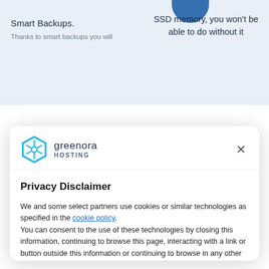[Figure (screenshot): Background webpage showing 'Smart Backups.' and 'SSD memory, you won't be able to do without it' sections with light blue background]
[Figure (logo): Greenora Hosting logo: hexagonal cyan icon with snowflake/wheel pattern and text 'greenora HOSTING']
Privacy Disclaimer
We and some select partners use cookies or similar technologies as specified in the cookie policy.
You can consent to the use of these technologies by closing this information, continuing to browse this page, interacting with a link or button outside this information or continuing to browse in any other way.
Accept
Discover more and personalize